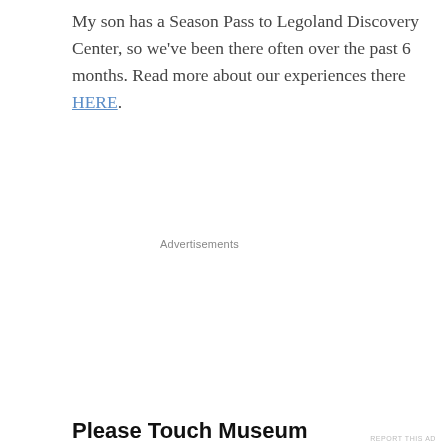My son has a Season Pass to Legoland Discovery Center, so we've been there often over the past 6 months. Read more about our experiences there HERE.
Advertisements
[Figure (other): Automattic advertisement banner with logo, headline 'Build a better web and a better world.', an Apply button, and a circular photo of a person thinking.]
Please Touch Museum